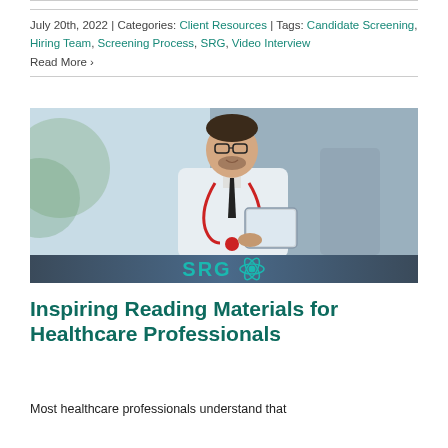July 20th, 2022 | Categories: Client Resources | Tags: Candidate Screening, Hiring Team, Screening Process, SRG, Video Interview
Read More ›
[Figure (photo): Photo of a male doctor in a white lab coat and red stethoscope, wearing glasses, smiling while looking at a tablet device. SRG logo bar at the bottom of the image.]
Inspiring Reading Materials for Healthcare Professionals
Most healthcare professionals understand that